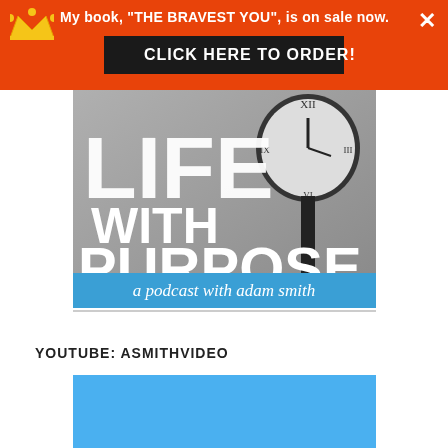My book, "THE BRAVEST YOU", is on sale now.
CLICK HERE TO ORDER!
[Figure (illustration): Podcast cover art for 'Life With Purpose - a podcast with adam smith'. Black and white image of a large clock on a pole. White text reads LIFE WITH PURPOSE. Blue banner at bottom reads 'a podcast with adam smith'.]
YOUTUBE: ASMITHVIDEO
[Figure (screenshot): Blue rectangle representing a YouTube video thumbnail placeholder.]